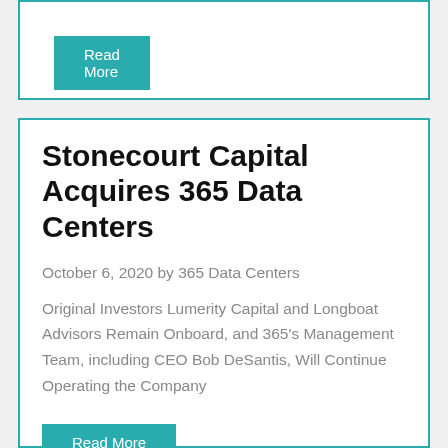Read More
Stonecourt Capital Acquires 365 Data Centers
October 6, 2020 by 365 Data Centers
Original Investors Lumerity Capital and Longboat Advisors Remain Onboard, and 365's Management Team, including CEO Bob DeSantis, Will Continue Operating the Company
Read More